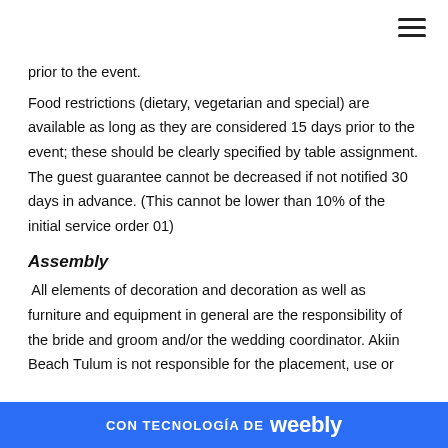prior to the event.
Food restrictions (dietary, vegetarian and special) are available as long as they are considered 15 days prior to the event; these should be clearly specified by table assignment. The guest guarantee cannot be decreased if not notified 30 days in advance. (This cannot be lower than 10% of the initial service order 01)
Assembly
All elements of decoration and decoration as well as furniture and equipment in general are the responsibility of the bride and groom and/or the wedding coordinator. Akiin Beach Tulum is not responsible for the placement, use or
CON TECNOLOGÍA DE weebly